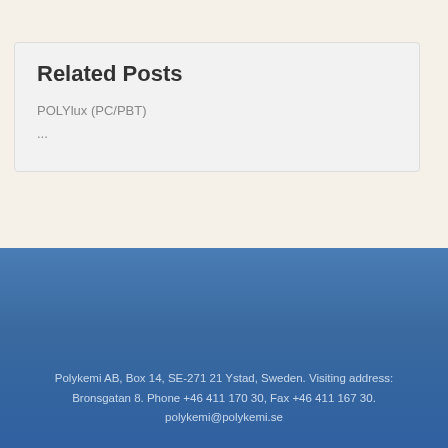Related Posts
POLYlux (PC/PBT)
...
Polykemi AB, Box 14, SE-271 21 Ystad, Sweden. Visiting address: Bronsgatan 8. Phone +46 411 170 30, Fax +46 411 167 30. polykemi@polykemi.se